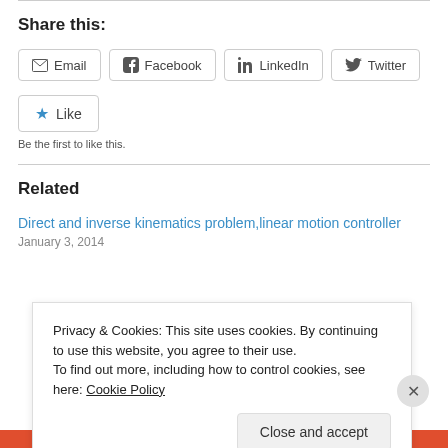Share this:
[Figure (other): Share buttons: Email, Facebook, LinkedIn, Twitter]
[Figure (other): Like button with star icon]
Be the first to like this.
Related
Direct and inverse kinematics problem,linear motion controller
January 3, 2014
Privacy & Cookies: This site uses cookies. By continuing to use this website, you agree to their use.
To find out more, including how to control cookies, see here: Cookie Policy